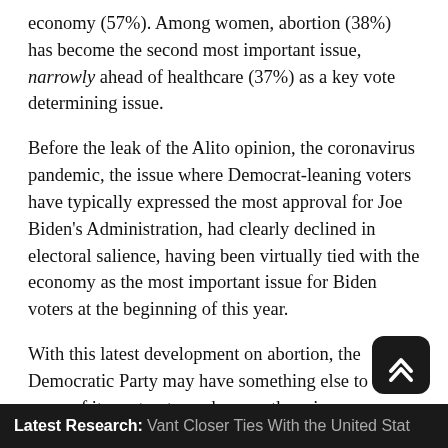economy (57%). Among women, abortion (38%) has become the second most important issue, narrowly ahead of healthcare (37%) as a key vote determining issue.
Before the leak of the Alito opinion, the coronavirus pandemic, the issue where Democrat-leaning voters have typically expressed the most approval for Joe Biden's Administration, had clearly declined in electoral salience, having been virtually tied with the economy as the most important issue for Biden voters at the beginning of this year.
With this latest development on abortion, the Democratic Party may have something else to offer some of its past voters who are otherwise disillusioned with the Biden Administration, particularly with regard to the economy. Even so, will the Democrats be able to make abortion as important an issue as the economy for such voters if record inflation is still present in November?
Latest Research: Vant Closer Ties With the United Stat